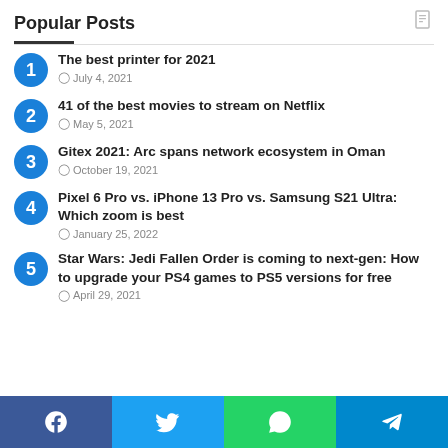Popular Posts
The best printer for 2021 — July 4, 2021
41 of the best movies to stream on Netflix — May 5, 2021
Gitex 2021: Arc spans network ecosystem in Oman — October 19, 2021
Pixel 6 Pro vs. iPhone 13 Pro vs. Samsung S21 Ultra: Which zoom is best — January 25, 2022
Star Wars: Jedi Fallen Order is coming to next-gen: How to upgrade your PS4 games to PS5 versions for free — April 29, 2021